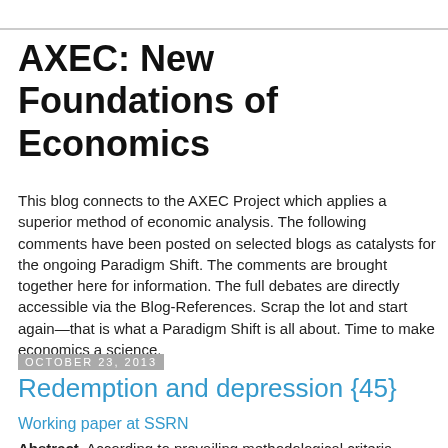AXEC: New Foundations of Economics
This blog connects to the AXEC Project which applies a superior method of economic analysis. The following comments have been posted on selected blogs as catalysts for the ongoing Paradigm Shift. The comments are brought together here for information. The full debates are directly accessible via the Blog-References. Scrap the lot and start again—that is what a Paradigm Shift is all about. Time to make economics a science.
October 23, 2013
Redemption and depression {45}
Working paper at SSRN
Abstract. According to prevailing methodological criteria